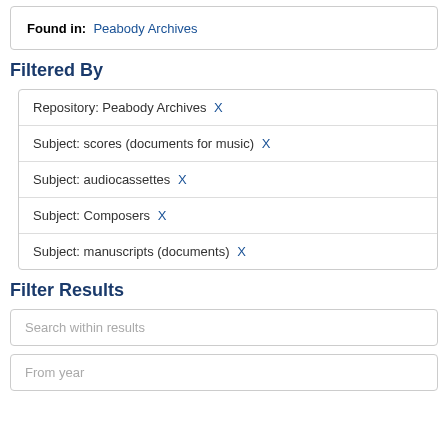Found in: Peabody Archives
Filtered By
Repository: Peabody Archives X
Subject: scores (documents for music) X
Subject: audiocassettes X
Subject: Composers X
Subject: manuscripts (documents) X
Filter Results
Search within results
From year